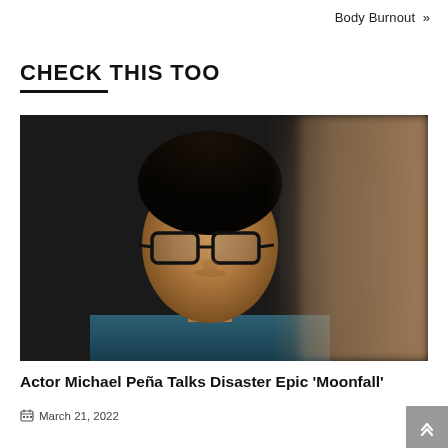Body Burnout »
CHECK THIS TOO
[Figure (photo): Portrait photo of actor Michael Peña wearing black-framed glasses and a dark teal/blue denim shirt, photographed against a dark background]
Actor Michael Peña Talks Disaster Epic 'Moonfall'
📅 March 21, 2022